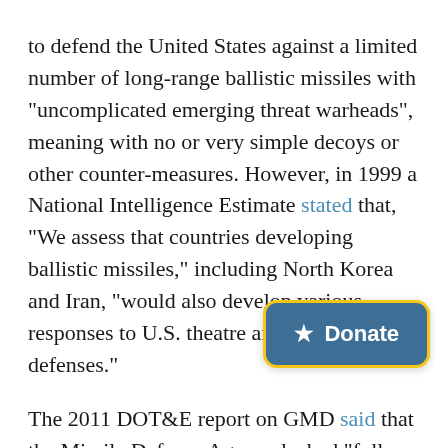to defend the United States against a limited number of long-range ballistic missiles with "uncomplicated emerging threat warheads", meaning with no or very simple decoys or other counter-measures. However, in 1999 a National Intelligence Estimate stated that, "We assess that countries developing ballistic missiles," including North Korea and Iran, "would also develop various responses to U.S. theatre and national defenses."
The 2011 DOT&E report on GMD said that the Missile Defense Agency lacked "full-scale, high-fidelity test data to validate GMD lethality performance" and that "survivability [testing is not] adequate to support a survivability assessment of the GMD system and its components." Earlier this month, the Department of Defense announced that it was delaying another intercept flight test until